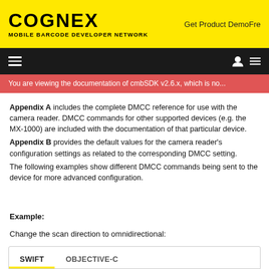COGNEX MOBILE BARCODE DEVELOPER NETWORK | Get Product Demo Free
You are viewing the documentation of cmbSDK v2.6.x, which is no...
Appendix A includes the complete DMCC reference for use with the camera reader. DMCC commands for other supported devices (e.g. the MX-1000) are included with the documentation of that particular device. Appendix B provides the default values for the camera reader's configuration settings as related to the corresponding DMCC setting. The following examples show different DMCC commands being sent to the device for more advanced configuration.
Example:
Change the scan direction to omnidirectional:
| SWIFT | OBJECTIVE-C |
| --- | --- |